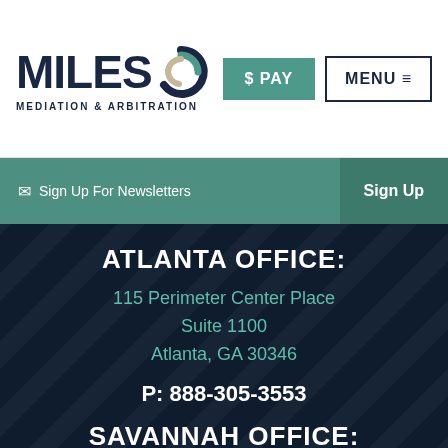[Figure (logo): Miles Mediation & Arbitration logo with swirl graphic and company name]
$ PAY
MENU ≡
✉ Sign Up For Newsletters
Sign Up
ATLANTA OFFICE:
115 Perimeter Center Place
Suite 1100
Atlanta, GA 30346
P: 888-305-3553
SAVANNAH OFFICE: